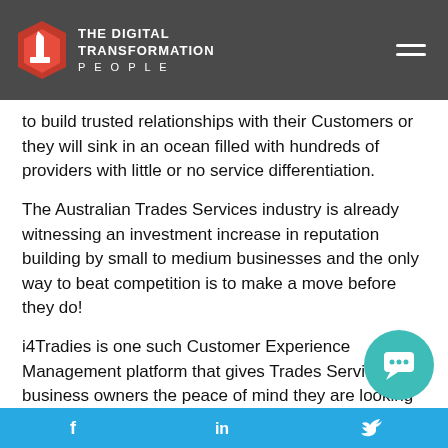THE DIGITAL TRANSFORMATION PEOPLE
to build trusted relationships with their Customers or they will sink in an ocean filled with hundreds of providers with little or no service differentiation.
The Australian Trades Services industry is already witnessing an investment increase in reputation building by small to medium businesses and the only way to beat competition is to make a move before they do!
i4Tradies is one such Customer Experience Management platform that gives Trades Services business owners the peace of mind they are looking for and simplifies the life of their customers by minimizing paperwork and streamlining business processes with accurate on-demand infor­m­ation...
f  in  (Twitter bird icon)